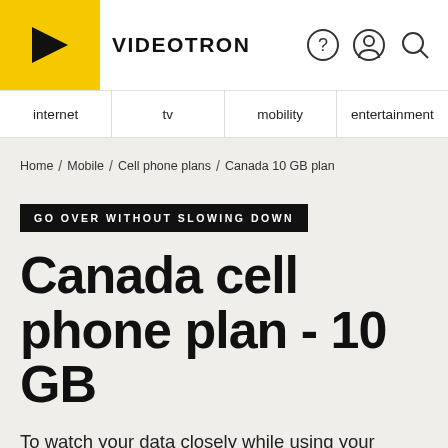VIDEOTRON
internet | tv | mobility | entertainment
Home / Mobile / Cell phone plans / Canada 10 GB plan
GO OVER WITHOUT SLOWING DOWN
Canada cell phone plan - 10 GB
To watch your data closely while using your mobile to the fullest.